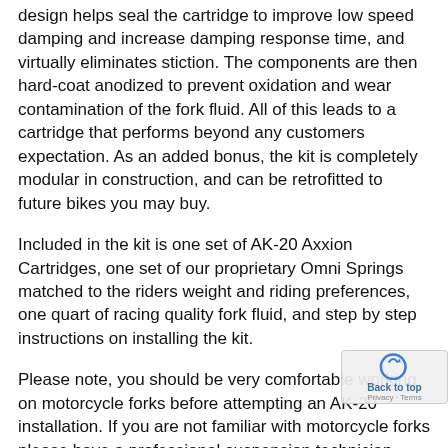design helps seal the cartridge to improve low speed damping and increase damping response time, and virtually eliminates stiction. The components are then hard-coat anodized to prevent oxidation and wear contamination of the fork fluid. All of this leads to a cartridge that performs beyond any customers expectation. As an added bonus, the kit is completely modular in construction, and can be retrofitted to future bikes you may buy.
Included in the kit is one set of AK-20 Axxion Cartridges, one set of our proprietary Omni Springs matched to the riders weight and riding preferences, one quart of racing quality fork fluid, and step by step instructions on installing the kit.
Please note, you should be very comfortable working on motorcycle forks before attempting an AK-20 installation. If you are not familiar with motorcycle forks please have a professional suspension technician perform the install. Th not something you want to "learn on."